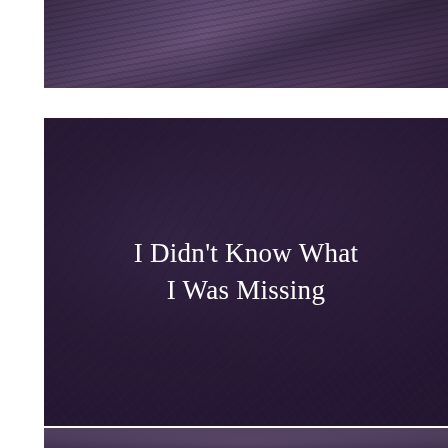[Figure (photo): Top strip of a dark purple-toned photograph, partially visible, showing what appears to be a person or figure with dark hair against a muted purple/dark background.]
[Figure (photo): Large central image with dark purple overlay over a rocky or soil-textured surface. White text centered in the image reads 'I Didn't Know What I Was Missing'.]
I Didn't Know What I Was Missing
[Figure (photo): Bottom strip of a dark purple-toned photograph partially visible, showing what appears to be a person's face with eyes visible against a dark muted purple background.]